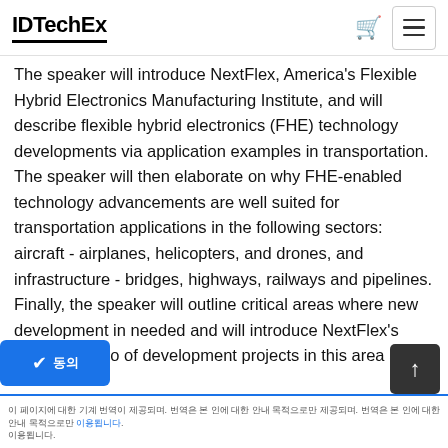IDTechEx
The speaker will introduce NextFlex, America's Flexible Hybrid Electronics Manufacturing Institute, and will describe flexible hybrid electronics (FHE) technology developments via application examples in transportation. The speaker will then elaborate on why FHE-enabled technology advancements are well suited for transportation applications in the following sectors: aircraft - airplanes, helicopters, and drones, and infrastructure - bridges, highways, railways and pipelines. Finally, the speaker will outline critical areas where new development in needed and will introduce NextFlex's broad portfolio of development projects in this area and the NextFlex process capabilities for prototyping and pilot-scale FHE manufacturing at the
이 페이지에 대한 기계 번역이 제공되며. 번역은 본 인에 대한 안내 목적으로만 제공되며.
이용됩니다.